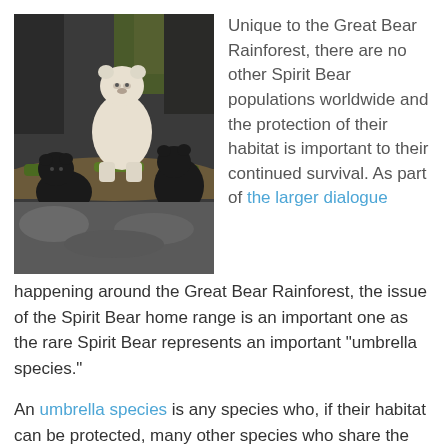[Figure (photo): A white Spirit Bear standing on a mossy fallen log, with two black bear cubs beside it in a forest setting.]
Unique to the Great Bear Rainforest, there are no other Spirit Bear populations worldwide and the protection of their habitat is important to their continued survival. As part of the larger dialogue happening around the Great Bear Rainforest, the issue of the Spirit Bear home range is an important one as the rare Spirit Bear represents an important “umbrella species.”
An umbrella species is any species who, if their habitat can be protected, many other species who share the same ecosystem are protected as well. If the Spirit Bear’s